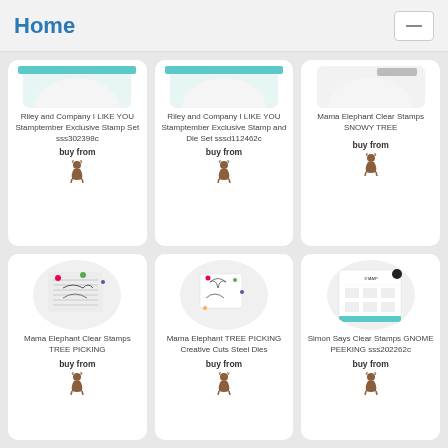Home
[Figure (screenshot): Partial product image top - Riley and Company stamp]
Riley and Company I LIKE YOU Stamptember Exclusive Stamp Set sss302398c
buy from
[Figure (illustration): Small deer/reindeer icon]
[Figure (screenshot): Partial product image top - Riley and Company stamp and die]
Riley and Company I LIKE YOU Stamptember Exclusive Stamp and Die Set sssd112462c
buy from
[Figure (illustration): Small deer/reindeer icon]
[Figure (screenshot): Partial product image top - Mama Elephant Clear Stamps]
Mama Elephant Clear Stamps SNOWY TREE
buy from
[Figure (illustration): Small deer/reindeer icon]
[Figure (photo): Mama Elephant Clear Stamps TREE PICKING product photo]
Mama Elephant Clear Stamps TREE PICKING
buy from
[Figure (illustration): Small deer/reindeer icon]
[Figure (photo): Mama Elephant TREE PICKING Creative Cuts Steel Dies product photo]
Mama Elephant TREE PICKING Creative Cuts Steel Dies
buy from
[Figure (illustration): Small deer/reindeer icon]
[Figure (photo): Simon Says Clear Stamps GNOME PEEKING product photo]
Simon Says Clear Stamps GNOME PEEKING sss202262c
buy from
[Figure (illustration): Small deer/reindeer icon]